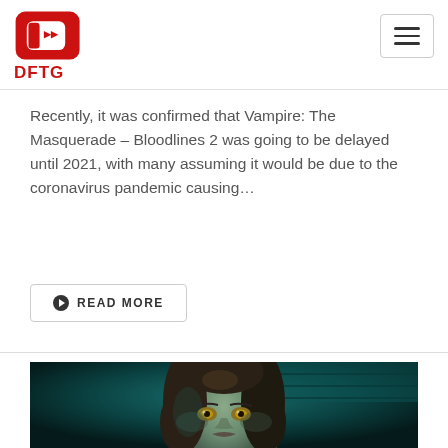DFTG
Recently, it was confirmed that Vampire: The Masquerade – Bloodlines 2 was going to be delayed until 2021, with many assuming it would be due to the coronavirus pandemic causing...
READ MORE
[Figure (photo): A close-up render of a pale vampire character with long dark hair, yellow eyes, against a teal/dark blue background — likely from Vampire: The Masquerade – Bloodlines 2.]